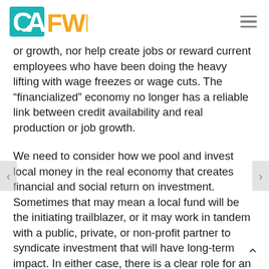CA FWD
or growth, nor help create jobs or reward current employees who have been doing the heavy lifting with wage freezes or wage cuts. The “financializd” economy no longer has a reliable link between credit availability and real production or job growth.
We need to consider how we pool and invest local money in the real economy that creates financial and social return on investment. Sometimes that may mean a local fund will be the initiating trailblazer, or it may work in tandem with a public, private, or non-profit partner to syndicate investment that will have long-term impact. In either case, there is a clear role for an honest broker to encourage and bring together interested parties to do what is needed most to get a ball rolling.